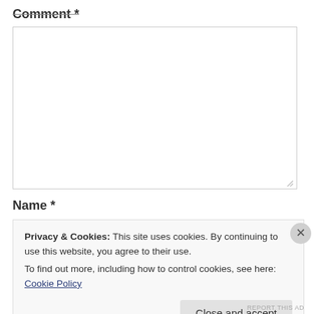Comment *
[Figure (screenshot): A comment text area input box, empty, with resize handle at bottom right]
Name *
Privacy & Cookies: This site uses cookies. By continuing to use this website, you agree to their use. To find out more, including how to control cookies, see here: Cookie Policy
Close and accept